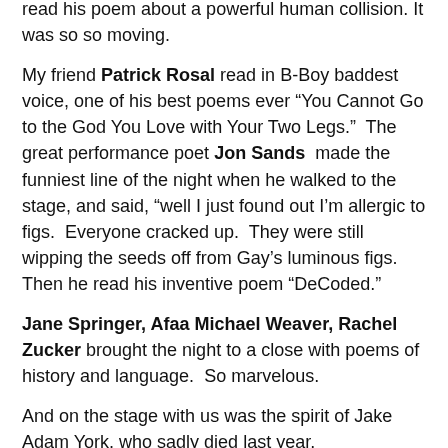read his poem about a powerful human collision. It was so so moving.
My friend Patrick Rosal read in B-Boy baddest voice, one of his best poems ever “You Cannot Go to the God You Love with Your Two Legs.”  The great performance poet Jon Sands  made the funniest line of the night when he walked to the stage, and said, “well I just found out I’m allergic to figs.  Everyone cracked up.  They were still wipping the seeds off from Gay’s luminous figs.  Then he read his inventive poem “DeCoded.”
Jane Springer, Afaa Michael Weaver, Rachel Zucker brought the night to a close with poems of history and language.  So marvelous.
And on the stage with us was the spirit of Jake Adam York, who sadly died last year.
If this night was indicative of the health and breath of American Poetry, than rather than lamenting its Death, the critics should acknowledge its ongoing inventiveness and